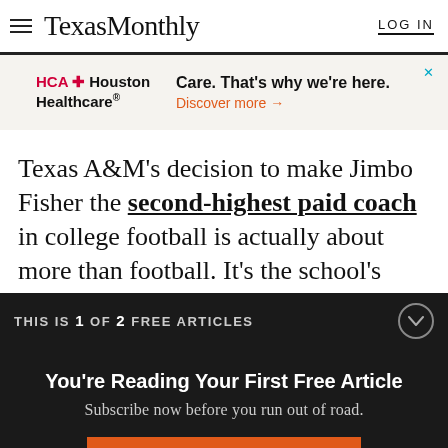Texas Monthly  LOG IN
[Figure (other): HCA + Houston Healthcare advertisement banner. Text: 'Care. That's why we're here. Discover more →']
Texas A&M's decision to make Jimbo Fisher the second-highest paid coach in college football is actually about more than football. It's the school's
THIS IS 1 OF 2 FREE ARTICLES
You're Reading Your First Free Article
Subscribe now before you run out of road.
SUBSCRIBE NOW
Already a subscriber? Log in